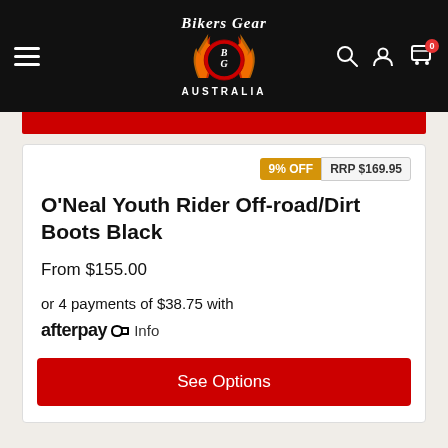Bikers Gear Australia - navigation header with logo, hamburger menu, search, account, and cart icons
9% OFF  RRP $169.95
O'Neal Youth Rider Off-road/Dirt Boots Black
From $155.00
or 4 payments of $38.75 with afterpay Info
See Options
NEWSLETTER SIGN UP